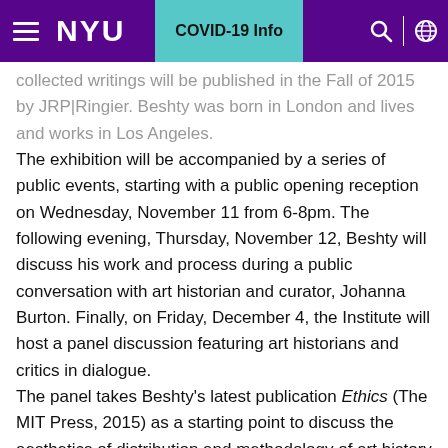NYU | COVID-19 Info
collected writings will be published in the Fall of 2015 by JRP|Ringier. Beshty was born in London and lives and works in Los Angeles. The exhibition will be accompanied by a series of public events, starting with a public opening reception on Wednesday, November 11 from 6-8pm. The following evening, Thursday, November 12, Beshty will discuss his work and process during a public conversation with art historian and curator, Johanna Burton. Finally, on Friday, December 4, the Institute will host a panel discussion featuring art historians and critics in dialogue. The panel takes Beshty's latest publication Ethics (The MIT Press, 2015) as a starting point to discuss the aesthetics of distribution and methodology of art history today. Beshty is represented by Regen Projects, Los Angeles; Petzel, New York; Thomas Dane Gallery, London; Galerie Rodolphe